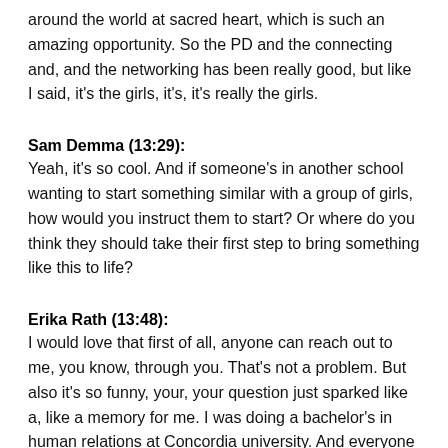around the world at sacred heart, which is such an amazing opportunity. So the PD and the connecting and, and the networking has been really good, but like I said, it's the girls, it's, it's really the girls.
Sam Demma (13:29):
Yeah, it's so cool. And if someone's in another school wanting to start something similar with a group of girls, how would you instruct them to start? Or where do you think they should take their first step to bring something like this to life?
Erika Rath (13:48):
I would love that first of all, anyone can reach out to me, you know, through you. That's not a problem. But also it's so funny, your, your question just sparked like a, like a memory for me. I was doing a bachelor's in human relations at Concordia university. And everyone was like